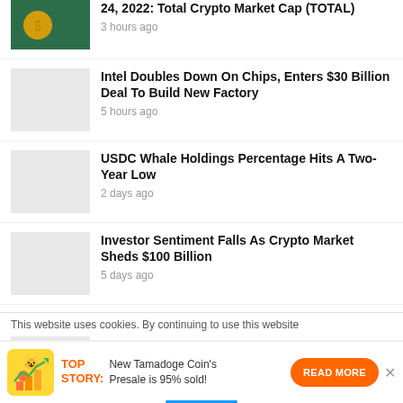24, 2022: Total Crypto Market Cap (TOTAL) — 3 hours ago
Intel Doubles Down On Chips, Enters $30 Billion Deal To Build New Factory — 5 hours ago
USDC Whale Holdings Percentage Hits A Two-Year Low — 2 days ago
Investor Sentiment Falls As Crypto Market Sheds $100 Billion — 5 days ago
Crypto Market Gains Retrace As…
This website uses cookies. By continuing to use this website
TOP STORY: New Tamadoge Coin's Presale is 95% sold! READ MORE